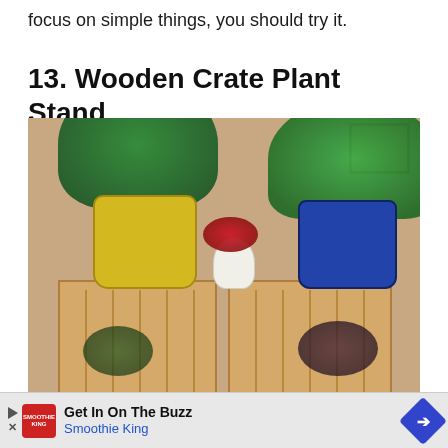focus on simple things, you should try it.
13. Wooden Crate Plant Stand
[Figure (photo): Photo of two wooden crate plant stands side by side against a beige wall. Left crate has a large yellow ceramic pot with a lush green leafy plant, right crate has a blue ceramic pot with a trailing green plant. A small white hobnail vase with red flowers sits between them. Smaller plants are visible inside the crates below. A wooden frame is partially visible in the upper right corner.]
Get In On The Buzz
Smoothie King